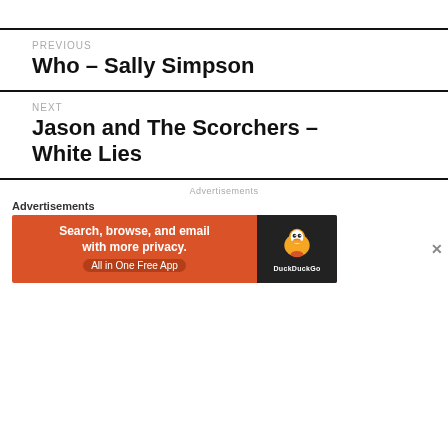PREVIOUS
Who – Sally Simpson
NEXT
Jason and The Scorchers – White Lies
Advertisements
[Figure (other): DuckDuckGo advertisement banner: Search, browse, and email with more privacy. All in One Free App. DuckDuckGo logo on dark background.]